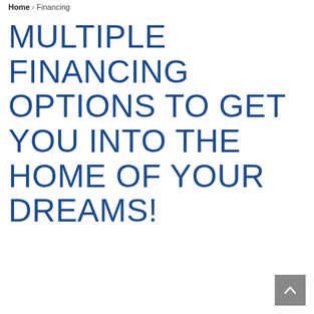Home › Financing
MULTIPLE FINANCING OPTIONS TO GET YOU INTO THE HOME OF YOUR DREAMS!